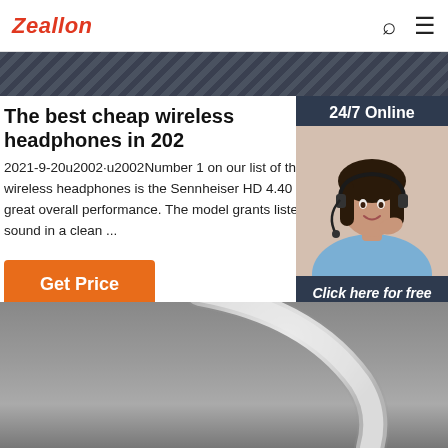Zeallon
[Figure (photo): Dark diagonal striped banner/header band in dark grey/slate tones]
The best cheap wireless headphones in 202
2021-9-20u2002·u2002Number 1 on our list of the wireless headphones is the Sennheiser HD 4.40 B great overall performance. The model grants liste sound in a clean ...
Get Price
[Figure (photo): 24/7 Online customer service representative - woman with headset smiling, shown in chat widget sidebar with dark blue background, 'Click here for free chat!' text, and orange QUOTATION button]
[Figure (photo): Close-up photo of white wireless headphone arc/band on grey background at bottom of page]